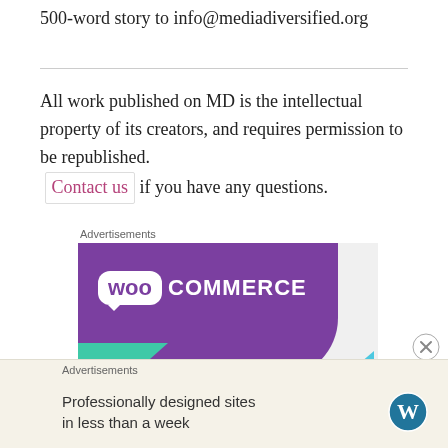500-word story to info@mediadiversified.org
All work published on MD is the intellectual property of its creators, and requires permission to be republished. Contact us if you have any questions.
[Figure (illustration): WooCommerce advertisement banner with purple diagonal design, teal triangle, blue triangle, and text 'How to start selling']
[Figure (illustration): WordPress advertisement bar: 'Professionally designed sites in less than a week' with WordPress logo]